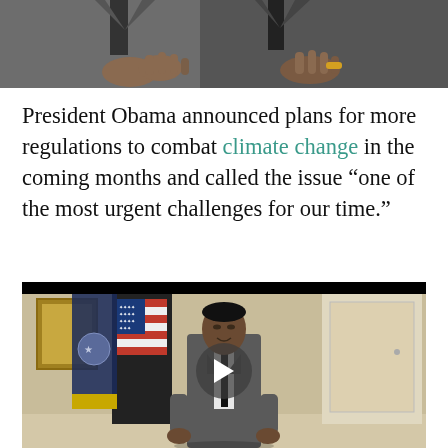[Figure (photo): Top portion of a photo showing two people in suits, one with a gold bracelet, pointing or gesturing with hands visible against a grey/blue background]
President Obama announced plans for more regulations to combat climate change in the coming months and called the issue “one of the most urgent challenges for our time.”
[Figure (photo): Video thumbnail showing President Obama standing at a podium in front of an American flag and a blue presidential flag in a White House room, with a play button overlay indicating an embedded video]